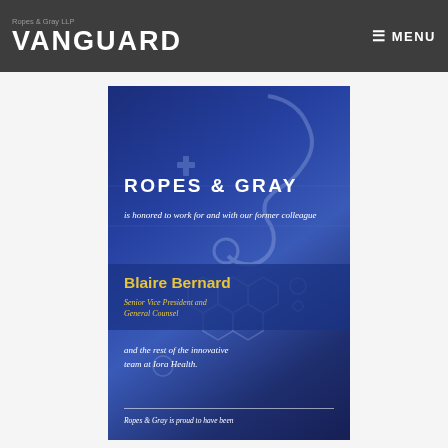Ropes & Gray LLP | VANGUARD | ≡ MENU
[Figure (illustration): Ropes & Gray advertisement card on dark blue background with medical/tech schematic overlay (stethoscope, hexagons, cross symbols). Contains firm name 'ROPES & GRAY', text 'is honored to work for and with our former colleague', name 'Blaire Bernard', title 'Senior Vice President and General Counsel', and 'and the rest of the innovative team at Iora Health.' with a horizontal divider and partial text 'Ropes & Gray is proud to have been' at bottom.]